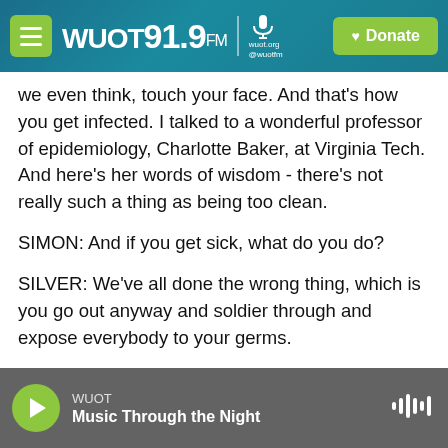WUOT 91.9 FM | wuot.org @wuotfm | Donate
we even think, touch your face. And that's how you get infected. I talked to a wonderful professor of epidemiology, Charlotte Baker, at Virginia Tech. And here's her words of wisdom - there's not really such a thing as being too clean.
SIMON: And if you get sick, what do you do?
SILVER: We've all done the wrong thing, which is you go out anyway and soldier through and expose everybody to your germs.
SIMON: Yeah.
WUOT | Music Through the Night